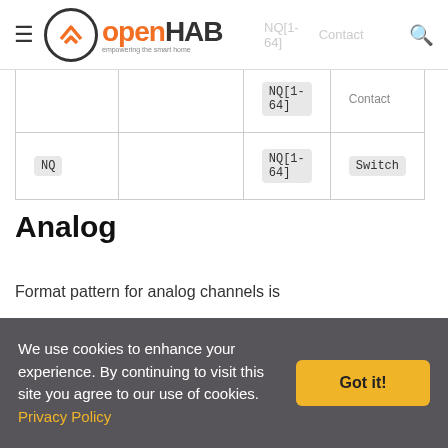openHAB — empowering the smart home
|  |  | NQ[1-64] | Contact |
| --- | --- | --- | --- |
| NQ |  | NQ[1-64] | Switch |
Analog
Format pattern for analog channels is
[Figure (screenshot): Dark code block showing: channel="plclogo:analog:<DeviceId>:<ThingId>]
Dependent on configured LOGO! PLC and thing kind,
We use cookies to enhance your experience. By continuing to visit this site you agree to our use of cookies. Privacy Policy